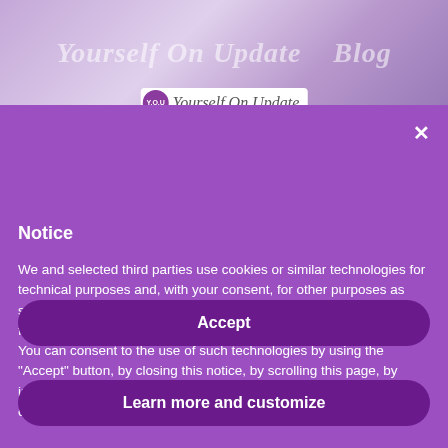[Figure (screenshot): Background screenshot of a website with purple-toned laptop image and italic script text overlay reading 'Yourself On Update' and 'Blog']
[Figure (logo): Y.O.U logo circle in purple with 'Yourself On Update' brand text in italic script]
Notice
We and selected third parties use cookies or similar technologies for technical purposes and, with your consent, for other purposes as specified in the cookie policy. Denying consent may make related features unavailable.
You can consent to the use of such technologies by using the "Accept" button, by closing this notice, by scrolling this page, by interacting with any link or button outside of this notice or by continuing to browse otherwise.
Accept
Learn more and customize